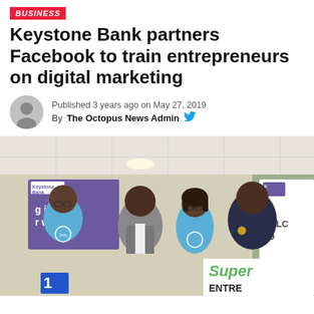BUSINESS
Keystone Bank partners Facebook to train entrepreneurs on digital marketing
Published 3 years ago on May 27, 2019
By The Octopus News Admin
[Figure (photo): Four people posing together in front of a Keystone Bank banner. Three wear light blue Keystone Bank branded t-shirts. A sign reading 'Super ENTRE...' is visible. A 'WELC YO' banner is partially visible on the right.]